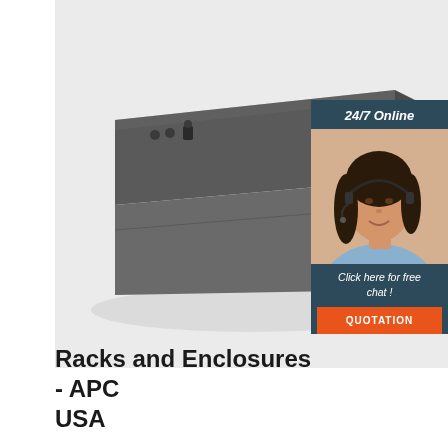[Figure (photo): Dark gray rectangular enclosure/rack unit shown in 3D perspective view on a light gray background. The unit is long and low-profile with a small control element on the top-left surface and a display panel on the right side.]
[Figure (infographic): Chat widget overlay showing '24/7 Online' text, a female customer service agent wearing a headset, and 'Click here for free chat!' text with an orange 'QUOTATION' button below.]
Racks and Enclosures - APC USA